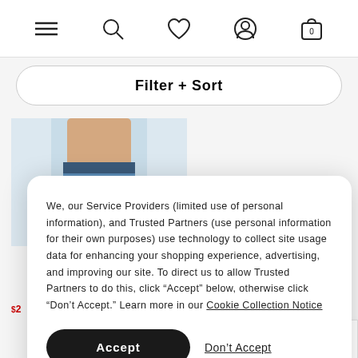[Figure (screenshot): E-commerce website navigation bar with hamburger menu, search icon, heart/wishlist icon, user account icon, and shopping bag icon with 0 items]
Filter + Sort
[Figure (photo): Partial photo of a woman wearing blue jeans]
We, our Service Providers (limited use of personal information), and Trusted Partners (use personal information for their own purposes) use technology to collect site usage data for enhancing your shopping experience, advertising, and improving our site. To direct us to allow Trusted Partners to do this, click “Accept” below, otherwise click “Don’t Accept.” Learn more in our Cookie Collection Notice
Accept
Don’t Accept